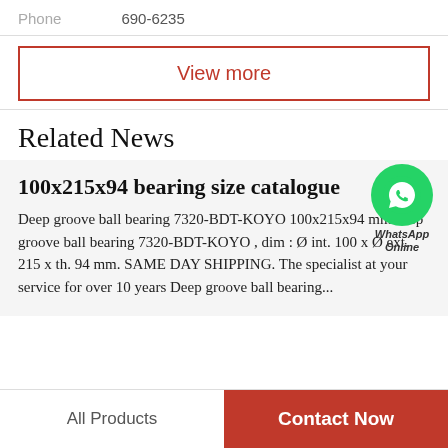Phone   690-6235
View more
Related News
100x215x94 bearing size catalogue
Deep groove ball bearing 7320-BDT-KOYO 100x215x94 mmDeep groove ball bearing 7320-BDT-KOYO , dim : Ø int. 100 x Ø ext. 215 x th. 94 mm. SAME DAY SHIPPING. The specialist at your service for over 10 years Deep groove ball bearing...
[Figure (logo): WhatsApp Online green circle logo with phone icon and text 'WhatsApp Online']
All Products
Contact Now